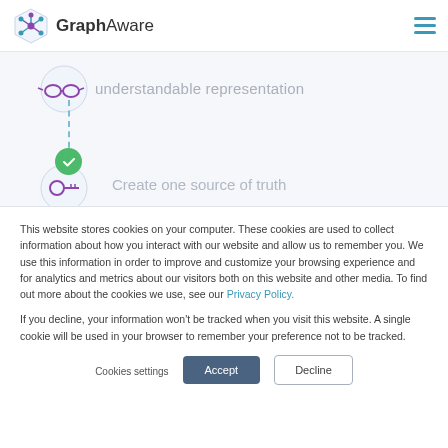[Figure (logo): GraphAware logo — hexagonal network icon in teal/purple with 'GraphAware' wordmark]
[Figure (screenshot): Partially visible webpage content showing 'understandable representation' text and 'Create one source of truth' item with check icon and dashed connecting line]
This website stores cookies on your computer. These cookies are used to collect information about how you interact with our website and allow us to remember you. We use this information in order to improve and customize your browsing experience and for analytics and metrics about our visitors both on this website and other media. To find out more about the cookies we use, see our Privacy Policy.
If you decline, your information won't be tracked when you visit this website. A single cookie will be used in your browser to remember your preference not to be tracked.
Cookies settings
Accept
Decline